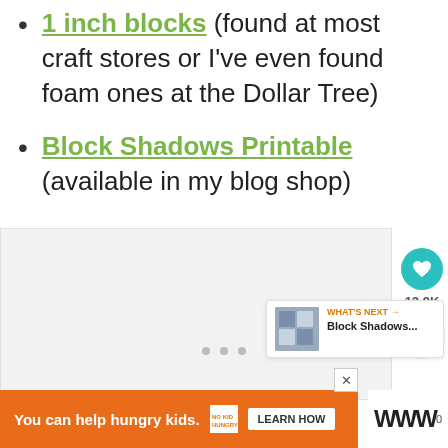1 inch blocks (found at most craft stores or I've even found foam ones at the Dollar Tree)
Block Shadows Printable (available in my blog shop)
[Figure (screenshot): Light gray image placeholder area with social sidebar showing heart button (teal, 13.9K), share button, and a 'What's Next' card for Block Shadows...]
You can help hungry kids. | NO KID HUNGRY | LEARN HOW